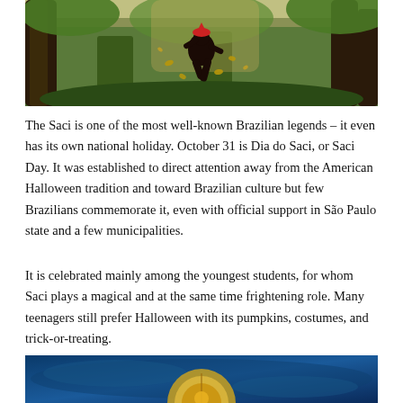[Figure (illustration): Fantasy forest scene with a dark creature leaping among trees, with coins or seeds flying through the air. Green mossy environment with warm lighting.]
The Saci is one of the most well-known Brazilian legends – it even has its own national holiday. October 31 is Dia do Saci, or Saci Day. It was established to direct attention away from the American Halloween tradition and toward Brazilian culture but few Brazilians commemorate it, even with official support in São Paulo state and a few municipalities.
It is celebrated mainly among the youngest students, for whom Saci plays a magical and at the same time frightening role. Many teenagers still prefer Halloween with its pumpkins, costumes, and trick-or-treating.
[Figure (illustration): Blue-toned circular illustration showing what appears to be a decorative or folkloric design with gold/yellow elements on a blue textured background.]